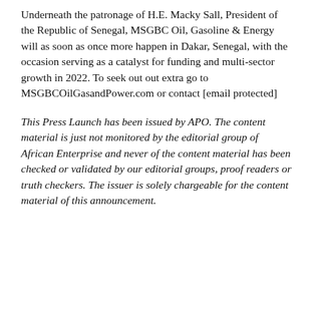Underneath the patronage of H.E. Macky Sall, President of the Republic of Senegal, MSGBC Oil, Gasoline & Energy will as soon as once more happen in Dakar, Senegal, with the occasion serving as a catalyst for funding and multi-sector growth in 2022. To seek out out extra go to MSGBCOilGasandPower.com or contact [email protected]
This Press Launch has been issued by APO. The content material is just not monitored by the editorial group of African Enterprise and never of the content material has been checked or validated by our editorial groups, proof readers or truth checkers. The issuer is solely chargeable for the content material of this announcement.